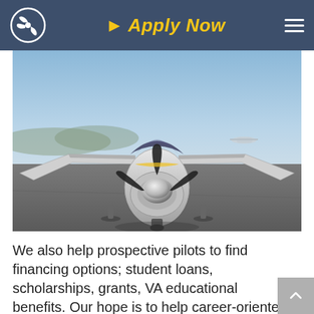Apply Now
[Figure (photo): Front-facing view of a small single-engine propeller aircraft (appears to be a Cirrus SR-type plane) parked on an airport tarmac under a clear sky. The plane is silver/white with a chrome spinner on the propeller. Wings are spread wide. Airport runway and another small aircraft visible in background.]
We also help prospective pilots to find financing options; student loans, scholarships, grants, VA educational benefits. Our hope is to help career-oriented students to secure funding to pay for their training.